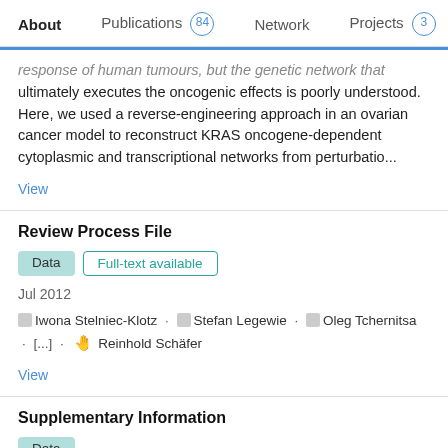About   Publications 84   Network   Projects 3
response of human tumours, but the genetic network that ultimately executes the oncogenic effects is poorly understood. Here, we used a reverse-engineering approach in an ovarian cancer model to reconstruct KRAS oncogene-dependent cytoplasmic and transcriptional networks from perturbatio...
View
Review Process File
Data   Full-text available
Jul 2012
Iwona Stelniec-Klotz · Stefan Legewie · Oleg Tchernitsa · [...] · Reinhold Schäfer
View
Supplementary Information
Data
Jul 2012